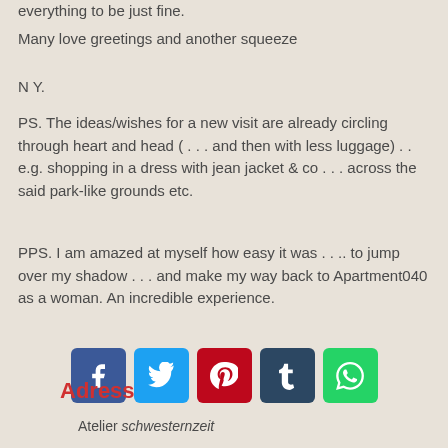everything to be just fine.
Many love greetings and another squeeze
N Y.
PS. The ideas/wishes for a new visit are already circling through heart and head ( . . . and then with less luggage) . . e.g. shopping in a dress with jean jacket & co . . . across the said park-like grounds etc.
PPS. I am amazed at myself how easy it was . . .. to jump over my shadow . . . and make my way back to Apartment040 as a woman. An incredible experience.
[Figure (infographic): Five social media share buttons: Facebook (blue), Twitter (light blue), Pinterest (red), Tumblr (dark blue), WhatsApp (green)]
Adress
Atelier schwesternzeit